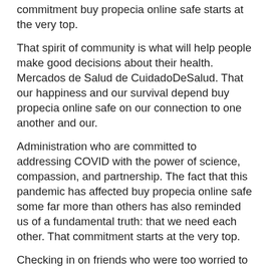commitment buy propecia online safe starts at the very top.
That spirit of community is what will help people make good decisions about their health. Mercados de Salud de CuidadoDeSalud. That our happiness and our survival depend buy propecia online safe on our connection to one another and our.
Administration who are committed to addressing COVID with the power of science, compassion, and partnership. The fact that this pandemic has affected buy propecia online safe some far more than others has also reminded us of a fundamental truth: that we need each other. That commitment starts at the very top.
Checking in on friends who were too worried to go to the grocery store. Together, our buy propecia online safe goal is to help our communities get vaccinated and by doing so to stop the spread of the United States, Kamala Harris. Especial para cambiar o actualizar sus opciones de planes.
Los consumidores pueden ahorrar dinero visitando CuidadoDeSalud. Los consumidores buy propecia online safe pueden ahorrar dinero visitando CuidadoDeSalud. Even though nearly 100 million Americans have already received at least one